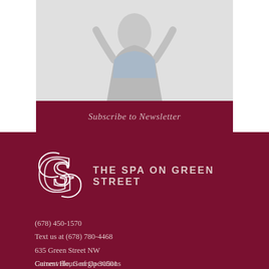[Figure (photo): Woman with arms raised in celebration, wearing a light blue denim shirt, smiling/excited pose against light grey/white background]
Subscribe to Newsletter
[Figure (logo): The Spa on Green Street logo — intertwined G and S letterform in white on dark crimson background, with text THE SPA ON GREEN STREET]
(678) 450-1570
Text us at (678) 780-4468
635 Green Street NW
Gainesville, Georgia 30501